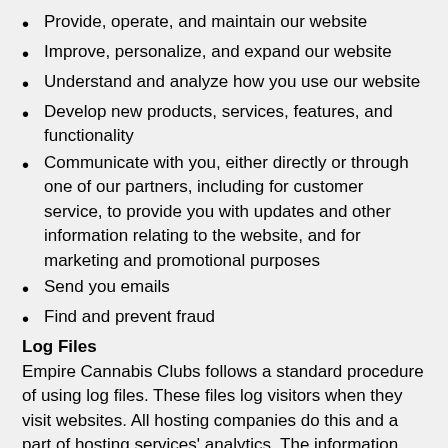Provide, operate, and maintain our website
Improve, personalize, and expand our website
Understand and analyze how you use our website
Develop new products, services, features, and functionality
Communicate with you, either directly or through one of our partners, including for customer service, to provide you with updates and other information relating to the website, and for marketing and promotional purposes
Send you emails
Find and prevent fraud
Log Files
Empire Cannabis Clubs follows a standard procedure of using log files. These files log visitors when they visit websites. All hosting companies do this and a part of hosting services’ analytics. The information collected by log files include internet protocol (IP) addresses, browser type, Internet Service Provider (ISP), date and time stamp,